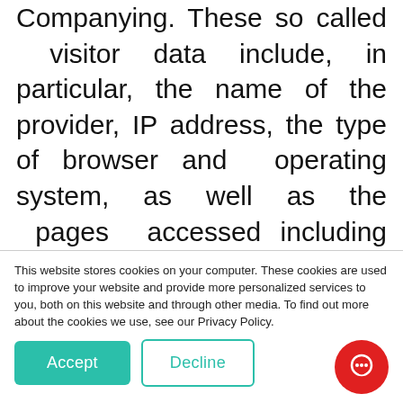Companying. These so called visitor data include, in particular, the name of the provider, IP address, the type of browser and operating system, as well as the pages accessed including any search terms and websites from which you have accessed our website. Data are always processed anonymously, i.e., the data will not be associated with your person.
7. If you do not agree to the collection of this data, you can reject data collection and storage at this point and at any time and with
This website stores cookies on your computer. These cookies are used to improve your website and provide more personalized services to you, both on this website and through other media. To find out more about the cookies we use, see our Privacy Policy.